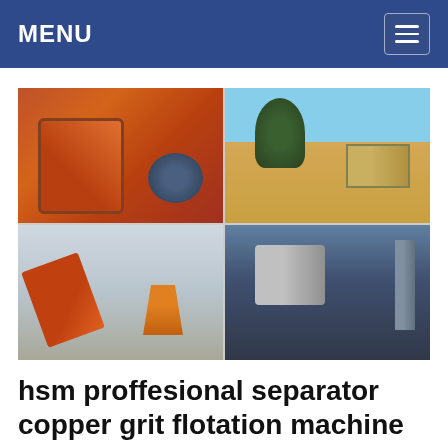MENU
[Figure (photo): Four-panel photo grid showing industrial mining and crushing equipment: top-left shows orange crusher machinery with motor; top-right shows outdoor mining conveyor structure with trees; bottom-left shows mobile crushing/screening plant with conveyor belts; bottom-right shows industrial machinery inside a large structure.]
hsm proffesional separator copper grit flotation machine